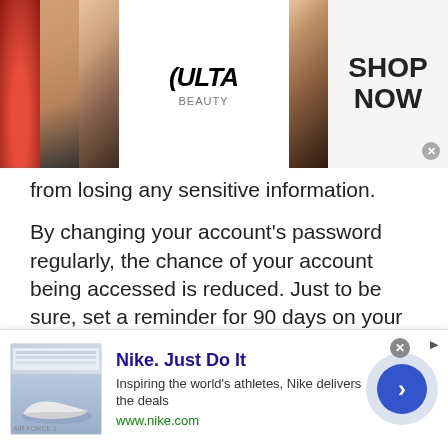[Figure (screenshot): ULTA Beauty advertisement banner with makeup images (lips, brush, eye) and SHOP NOW call to action]
from losing any sensitive information.
By changing your account’s password regularly, the chance of your account being accessed is reduced. Just to be sure, set a reminder for 90 days on your phone, or calendar and change your password frequently. This will remind you to change your password every day.
If you are setting a reminder on your mobile phone, it is a good idea to add links to all of your accounts so when you get the notification, you just have to click each link to
[Figure (screenshot): Nike. Just Do It advertisement banner: Inspiring the world’s athletes, Nike delivers the deals. www.nike.com]